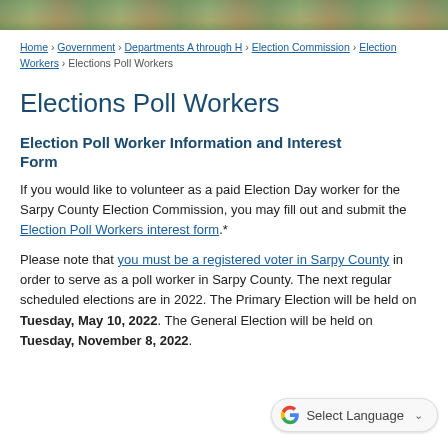[Figure (photo): Aerial photo banner of residential neighborhood at top of page]
Home › Government › Departments A through H › Election Commission › Election Workers › Elections Poll Workers
Elections Poll Workers
Election Poll Worker Information and Interest Form
If you would like to volunteer as a paid Election Day worker for the Sarpy County Election Commission, you may fill out and submit the Election Poll Workers interest form.*
Please note that you must be a registered voter in Sarpy County in order to serve as a poll worker in Sarpy County. The next regular scheduled elections are in 2022. The Primary Election will be held on Tuesday, May 10, 2022. The General Election will be held on Tuesday, November 8, 2022.